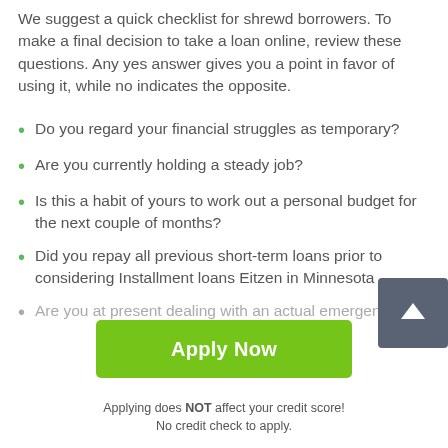We suggest a quick checklist for shrewd borrowers. To make a final decision to take a loan online, review these questions. Any yes answer gives you a point in favor of using it, while no indicates the opposite.
Do you regard your financial struggles as temporary?
Are you currently holding a steady job?
Is this a habit of yours to work out a personal budget for the next couple of months?
Did you repay all previous short-term loans prior to considering Installment loans Eitzen in Minnesota
Are you at present dealing with an actual emergency?
[Figure (other): Green Apply Now button]
Applying does NOT affect your credit score!
No credit check to apply.